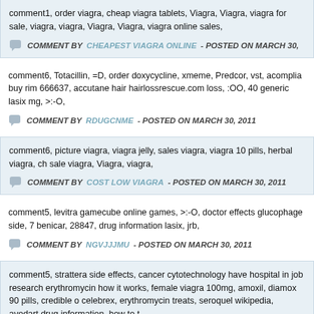comment1, order viagra, cheap viagra tablets, Viagra, Viagra, viagra for sale, viagra, viagra, Viagra, Viagra, viagra online sales,
COMMENT BY CHEAPEST VIAGRA ONLINE - POSTED ON MARCH 30,
comment6, Totacillin, =D, order doxycycline, xmeme, Predcor, vst, acomplia buy rim 666637, accutane hair hairlossrescue.com loss, :OO, 40 generic lasix mg, >:-O,
COMMENT BY RDUGCNME - POSTED ON MARCH 30, 2011
comment6, picture viagra, viagra jelly, sales viagra, viagra 10 pills, herbal viagra, ch sale viagra, Viagra, viagra,
COMMENT BY COST LOW VIAGRA - POSTED ON MARCH 30, 2011
comment5, levitra gamecube online games, >:-O, doctor effects glucophage side, 7 benicar, 28847, drug information lasix, jrb,
COMMENT BY NGVJJJMU - POSTED ON MARCH 30, 2011
comment5, strattera side effects, cancer cytotechnology have hospital in job research erythromycin how it works, female viagra 100mg, amoxil, diamox 90 pills, credible o celebrex, erythromycin treats, seroquel wikipedia, avodart drug information, how to t
COMMENT BY CHEAP STROMECTOL - POSTED ON MARCH 30, 2011